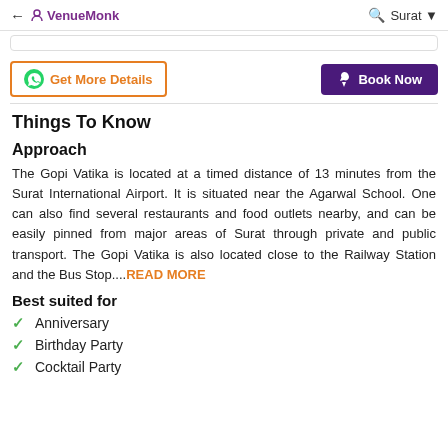← VenueMonk  🔍 Surat ▾
Get More Details | Book Now (buttons)
Things To Know
Approach
The Gopi Vatika is located at a timed distance of 13 minutes from the Surat International Airport. It is situated near the Agarwal School. One can also find several restaurants and food outlets nearby, and can be easily pinned from major areas of Surat through private and public transport. The Gopi Vatika is also located close to the Railway Station and the Bus Stop....READ MORE
Best suited for
Anniversary
Birthday Party
Cocktail Party